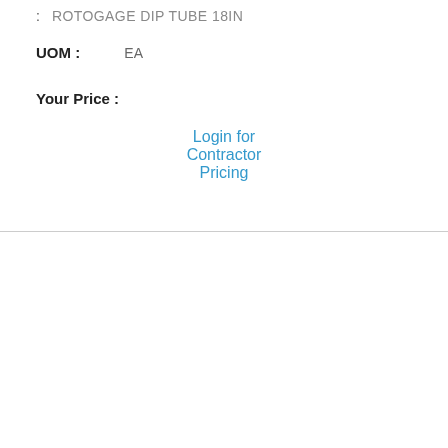: ROTOGAGE DIP TUBE 18IN
UOM : EA
Your Price :
Login for Contractor Pricing
[Figure (photo): Weather cap 3-1/2IN pipe product photo - a metallic pipe cap with a lever/handle]
Item Id : P770-3-1/2
Description
: WEATHER CAP 3-1/2IN PIPE
UOM : EA (1 total)